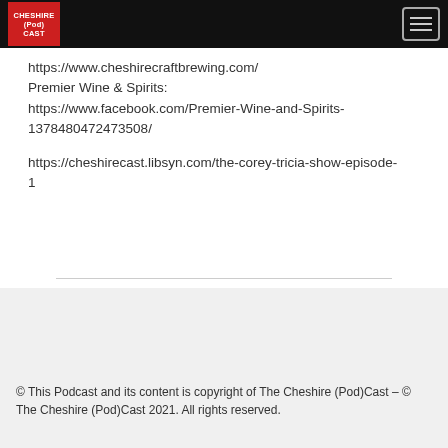[Figure (logo): Cheshire (Pod)Cast logo — red square with white text and hamburger menu button on black header bar]
https://www.cheshirecraftbrewing.com/
Premier Wine & Spirits:
https://www.facebook.com/Premier-Wine-and-Spirits-1378480472473508/
https://cheshirecast.libsyn.com/the-corey-tricia-show-episode-1
© This Podcast and its content is copyright of The Cheshire (Pod)Cast – © The Cheshire (Pod)Cast 2021. All rights reserved.